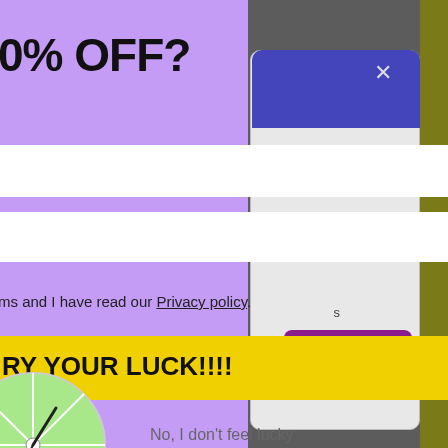0% OFF?
[Figure (screenshot): White input field (email/name field), empty]
[Figure (screenshot): White input field (second form field), empty]
ms and I have read our Privacy policy.
RY YOUR LUCK!!!!
No, I don't feel lucky
[Figure (screenshot): Right side: modal overlay with close X, 'o United' heading, dollar sign circle badge, purple button, and olive/yellow-green accent strip. Spin-wheel visible at bottom left corner.]